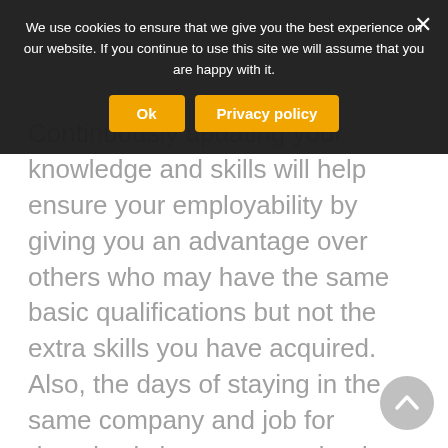Continuously updating your knowledge and skills will help ensure your employability by giving you an advantage over others who may have the same basic qualifications but not the extra skills you have acquired. Also, the days of staying in the same company and job for decades is long gone and today most people change their jobs between 10 and 15 times through
We use cookies to ensure that we give you the best experience on our website. If you continue to use this site we will assume that you are happy with it.